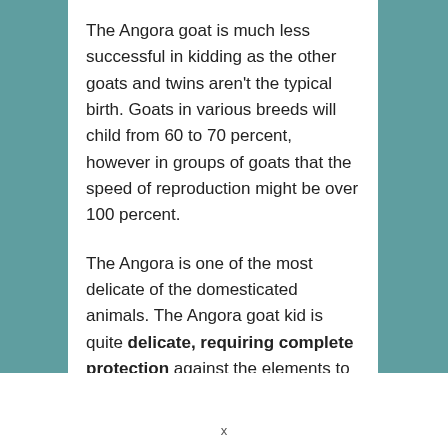The Angora goat is much less successful in kidding as the other goats and twins aren't the typical birth. Goats in various breeds will child from 60 to 70 percent, however in groups of goats that the speed of reproduction might be over 100 percent.
The Angora is one of the most delicate of the domesticated animals. The Angora goat kid is quite delicate, requiring complete protection against the elements to guarantee survival.